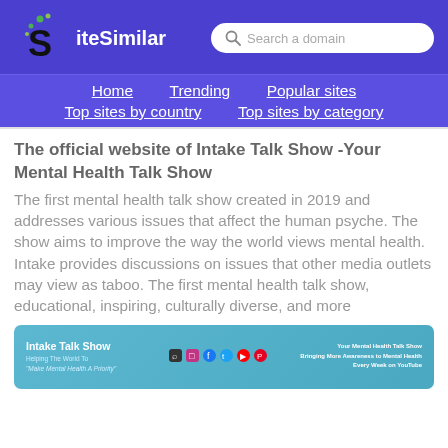SiteSimilar
Home  Trending  Popular sites  Top sites by country  Top sites by category
The official website of Intake Talk Show -Your Mental Health Talk Show
The first mental health talk show created in 2019 and addresses various issues that affect the human psyche. The show aims to improve the way the world views mental health. Intake provides discussions on issues that other media outlets may view as taboo. The first mental health talk show, educational, inspiring, culturally diverse, and more
[Figure (screenshot): Screenshot preview of the Intake Talk Show website with teal/blue background, showing the brand name, tagline and social media icons]